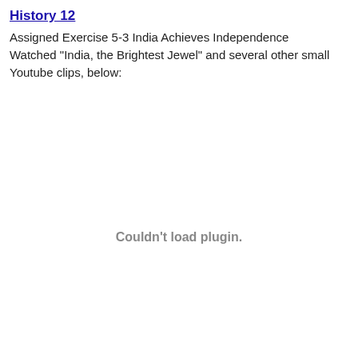History 12
Assigned Exercise 5-3 India Achieves Independence
Watched "India, the Brightest Jewel" and several other small Youtube clips, below:
[Figure (other): Embedded plugin area showing 'Couldn't load plugin.' error message where a video or media plugin was expected to render.]